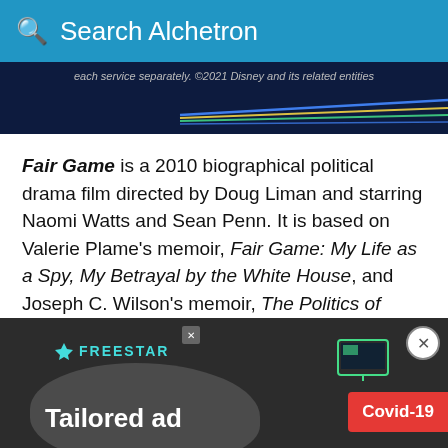Search Alchetron
[Figure (screenshot): Top advertisement banner showing Disney+ promotional content with colorful lines on dark background and text 'each service separately. ©2021 Disney and its related entities']
Fair Game is a 2010 biographical political drama film directed by Doug Liman and starring Naomi Watts and Sean Penn. It is based on Valerie Plame's memoir, Fair Game: My Life as a Spy, My Betrayal by the White House, and Joseph C. Wilson's memoir, The Politics of Truth: Inside the Lies that Led to War and Betrayed My Wife's CIA Identity: A Diplomat's Memoir.
[Figure (screenshot): Freestar advertisement banner with dark background, Freestar logo in teal, blob shape, text 'Tailored ad', Covid-19 red badge, and close/X buttons]